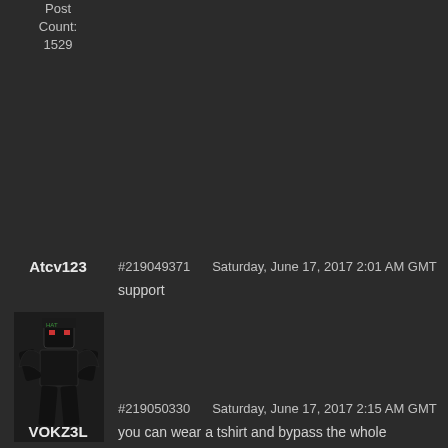Post Count:
1529
Atcv123
#219049371   Saturday, June 17, 2017 2:01 AM GMT
support
[Figure (illustration): Roblox character avatar for user Atcv123, dark colored figure]
Join Date:
2008-02-11
Post Count:
3632
VOKZ3L
#219050330   Saturday, June 17, 2017 2:15 AM GMT
you can wear a tshirt and bypass the whole